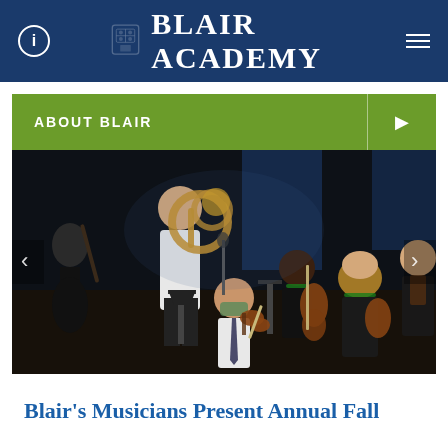Blair Academy
ABOUT BLAIR
[Figure (photo): Blair Academy students performing in an orchestra concert on stage, playing various instruments including tuba, violin, cello, and clarinet. Some students are wearing face masks.]
Blair's Musicians Present Annual Fall